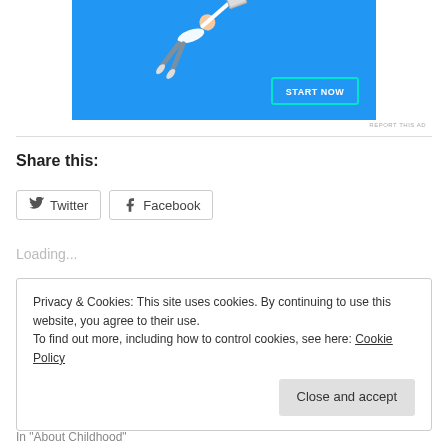[Figure (photo): Advertisement banner showing a person diving/flying in a blue background with a 'START NOW' button]
REPORT THIS AD
Share this:
[Figure (other): Twitter and Facebook share buttons]
Loading...
Privacy & Cookies: This site uses cookies. By continuing to use this website, you agree to their use.
To find out more, including how to control cookies, see here: Cookie Policy
Close and accept
In "About Childhood"